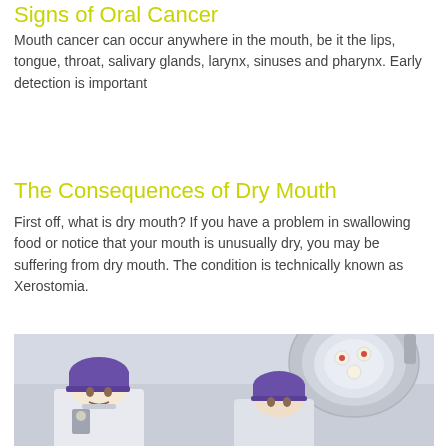Signs of Oral Cancer
Mouth cancer can occur anywhere in the mouth, be it the lips, tongue, throat, salivary glands, larynx, sinuses and pharynx. Early detection is important
The Consequences of Dry Mouth
First off, what is dry mouth? If you have a problem in swallowing food or notice that your mouth is unusually dry, you may be suffering from dry mouth. The condition is technically known as Xerostomia.
[Figure (photo): Two medical professionals wearing purple surgical caps in an operating room with large surgical lights overhead]